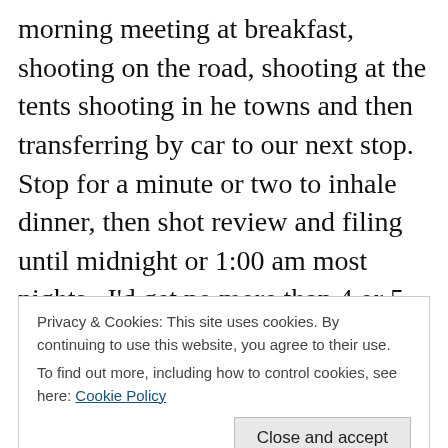morning meeting at breakfast, shooting on the road, shooting at the tents shooting in he towns and then transferring by car to our next stop. Stop for a minute or two to inhale dinner, then shot review and filing until midnight or 1:00 am most nights. I'd get no more than 4 or 5 hours of sleep a night yet wake up ready to go to work the next day. I met a thousand interesting people all of which had incredible stories about their journeys both at RAGBRAI and in life but I can only remember a handful. I kept telling myself to swing for the fences with every frame. that this was make or break time due to who would
Privacy & Cookies: This site uses cookies. By continuing to use this website, you agree to their use.
To find out more, including how to control cookies, see here: Cookie Policy
teenager who thinks he can do everything, and that there's